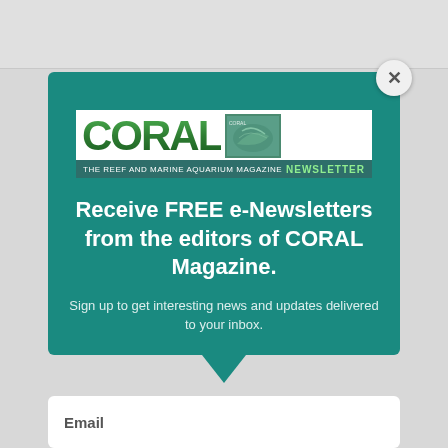[Figure (logo): CORAL Magazine logo — large green stylized text 'CORAL' with a magazine cover image stamp, and subtitle bar reading 'THE REEF AND MARINE AQUARIUM MAGAZINE NEWSLETTER']
Receive FREE e-Newsletters from the editors of CORAL Magazine.
Sign up to get interesting news and updates delivered to your inbox.
Email